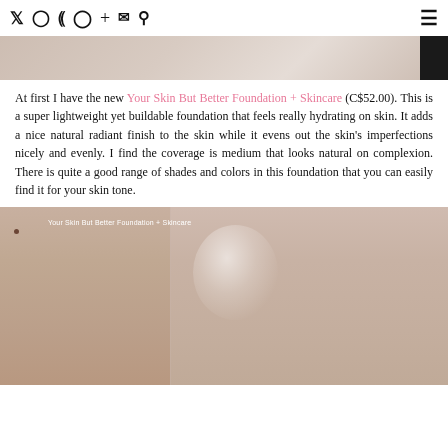Twitter Instagram Pinterest Facebook + Email Search [menu]
[Figure (photo): Top portion of a beauty/skincare image, showing skin tone with a dark element on the right edge]
At first I have the new Your Skin But Better Foundation + Skincare (C$52.00). This is a super lightweight yet buildable foundation that feels really hydrating on skin. It adds a nice natural radiant finish to the skin while it evens out the skin's imperfections nicely and evenly. I find the coverage is medium that looks natural on complexion. There is quite a good range of shades and colors in this foundation that you can easily find it for your skin tone.
[Figure (photo): Skin swatch photo showing foundation applied on skin — left half bare skin, right half with Your Skin But Better Foundation + Skincare showing a radiant sheen. Label text reads: Your Skin But Better Foundation + Skincare]